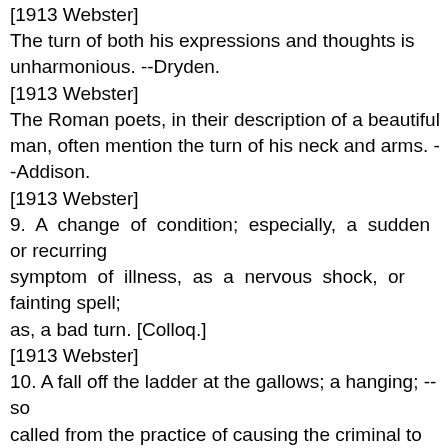[1913 Webster]
The turn of both his expressions and thoughts is unharmonious. --Dryden.
[1913 Webster]
The Roman poets, in their description of a beautiful man, often mention the turn of his neck and arms. --Addison.
[1913 Webster]
9.  A change of condition; especially, a sudden or recurring symptom of illness, as a nervous shock, or fainting spell; as, a bad turn. [Colloq.]
[1913 Webster]
10. A fall off the ladder at the gallows; a hanging; -- so called from the practice of causing the criminal to stand on a ladder which was turned over, so throwing him off, when the signal was given. [Obs.]